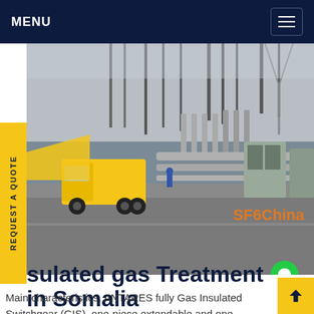MENU
[Figure (photo): Electrical substation with high-voltage equipment, transmission towers, pipes, and a yellow utility truck in the foreground. Watermark: SF6China.]
sulated gas Treatment in Somalia
Main characteristics. ANTARES fully Gas Insulated Switchgear (GIS), one-piece extendable and one-